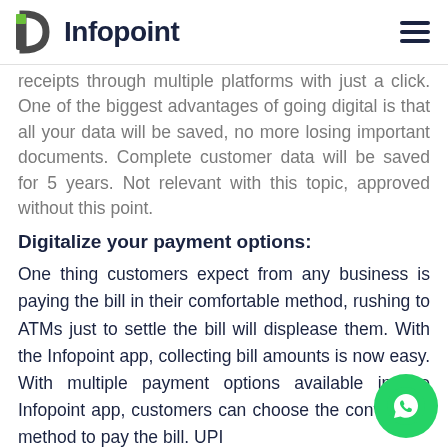Infopoint
receipts through multiple platforms with just a click. One of the biggest advantages of going digital is that all your data will be saved, no more losing important documents. Complete customer data will be saved for 5 years. Not relevant with this topic, approved without this point.
Digitalize your payment options:
One thing customers expect from any business is paying the bill in their comfortable method, rushing to ATMs just to settle the bill will displease them. With the Infopoint app, collecting bill amounts is now easy. With multiple payment options available in the Infopoint app, customers can choose the convenient method to pay the bill. UPI